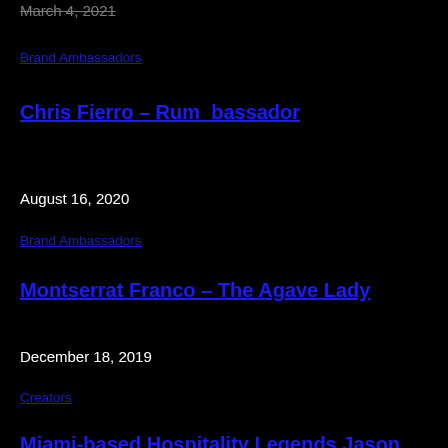March 4, 2021
Brand Ambassadors
Chris Fierro – Rum_bassador
August 16, 2020
Brand Ambassadors
Montserrat Franco – The Agave Lady
December 18, 2019
Creators
Miami-based Hospitality Legends Jason Odio and Marcelo Medina talk their careers, partnership,...
March 1, 2022
Creators
Angel de la Blanca – Tremenda Garnich...